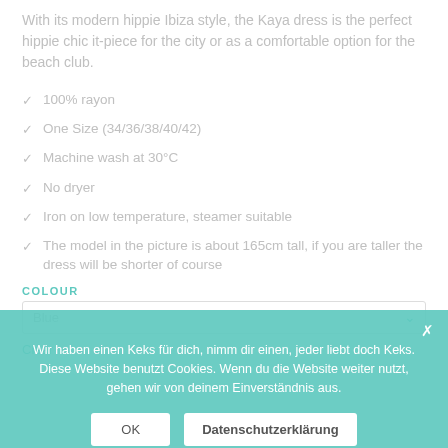With its modern hippie Ibiza style, the Kaya dress is the perfect hippie chic it-piece for the city or as a comfortable option for the beach club.
100% rayon
One Size (34/36/38/40/42)
Machine wash at 30°C
No dryer
Iron on low temperature, steamer suitable
The model in the picture is about 165cm tall, if you are taller the dress will be shorter of course
COLOUR
Blue
Clear
Wir haben einen Keks für dich, nimm dir einen, jeder liebt doch Keks. Diese Website benutzt Cookies. Wenn du die Website weiter nutzt, gehen wir von deinem Einverständnis aus.